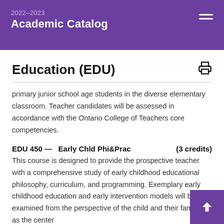2022-2023 Academic Catalog
Education (EDU)
primary junior school age students in the diverse elementary classroom. Teacher candidates will be assessed in accordance with the Ontario College of Teachers core competencies.
EDU 450 —  Early Chld Phi&Prac   (3 credits)
This course is designed to provide the prospective teacher with a comprehensive study of early childhood educational philosophy, curriculum, and programming. Exemplary early childhood education and early intervention models will be examined from the perspective of the child and their families as the center